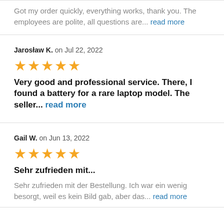Got my order quickly, everything works, thank you. The employees are polite, all questions are... read more
Jarosław K. on Jul 22, 2022
[Figure (other): 5 gold stars rating]
Very good and professional service. There, I found a battery for a rare laptop model. The seller... read more
Gail W. on Jun 13, 2022
[Figure (other): 5 gold stars rating]
Sehr zufrieden mit...
Sehr zufrieden mit der Bestellung. Ich war ein wenig besorgt, weil es kein Bild gab, aber das... read more